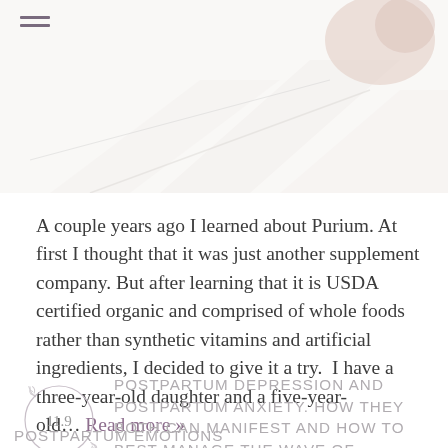[Figure (photo): Partial view of a photo showing what appears to be books or papers with a light, airy aesthetic, cropped at top of page]
A couple years ago I learned about Purium. At first I thought that it was just another supplement company. But after learning that it is USDA certified organic and comprised of whole foods rather than synthetic vitamins and artificial ingredients, I decided to give it a try. I have a three-year-old daughter and a five-year-old… Read more »
POSTPARTUM DEPRESSION AND POSTPARTUM ANXIETY. HOW THEY BOTH CAN MANIFEST AND HOW TO BEST MANAGE THE WAVE OF POSTPARTUM EMOTIONS